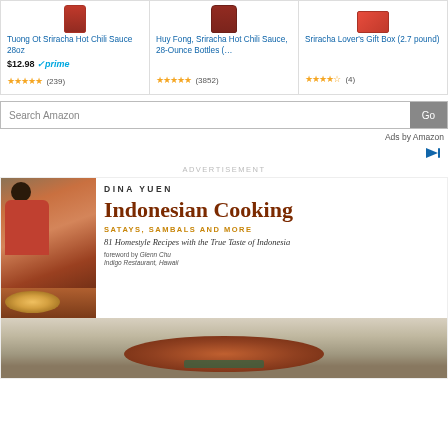[Figure (screenshot): Amazon product listing showing three Sriracha products: Tuong Ot Sriracha Hot Chili Sauce 28oz ($12.98 prime, 4.5 stars, 239 reviews), Huy Fong Sriracha Hot Chili Sauce 28-Ounce Bottles (5 stars, 3852 reviews), Sriracha Lover's Gift Box (2.7 pound) (4 stars, 4 reviews)]
Search Amazon
Ads by Amazon
ADVERTISEMENT
[Figure (photo): Book advertisement for 'Indonesian Cooking: Satays, Sambals and More' by Dina Yuen. 81 Homestyle Recipes with the True Taste of Indonesia. Foreword by Glenn Chu, Indigo Restaurant, Hawaii.]